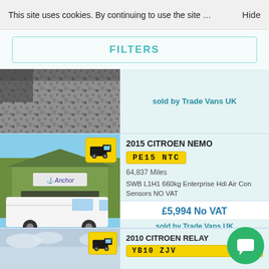FILTER RESULTS
This site uses cookies. By continuing to use the site …   Hide
FILTERS
sold by Trade Vans UK
2015 CITROEN NEMO
PE15 NTC
64,837 Miles
SWB L1H1 660kg Enterprise Hdi Air Con Sensors NO VAT
£5,994 No VAT
sold by Trade Vans UK
2010 CITROEN RELAY
YB10 ZJV